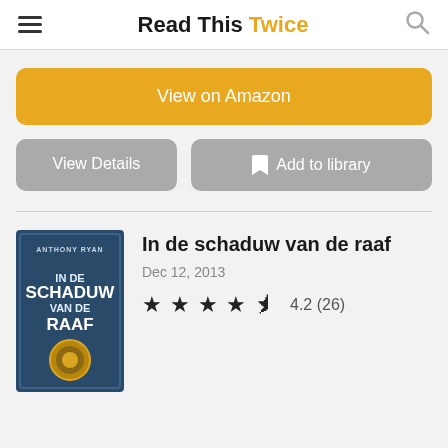Read This Twice
View on Amazon
View Details
Add to library
In de schaduw van de raaf
Dec 12, 2013
4.2 (26)